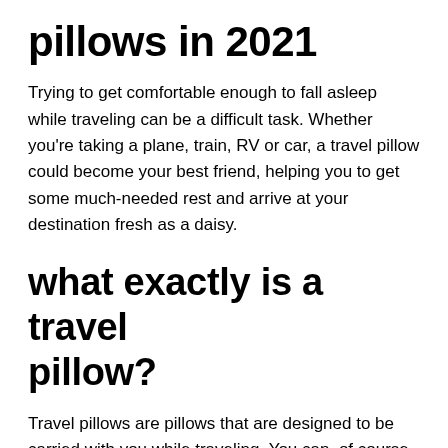pillows in 2021
Trying to get comfortable enough to fall asleep while traveling can be a difficult task. Whether you're taking a plane, train, RV or car, a travel pillow could become your best friend, helping you to get some much-needed rest and arrive at your destination fresh as a daisy.
what exactly is a travel pillow?
Travel pillows are pillows that are designed to be carried with you while traveling. You can, of course, use a generic pillow as a travel (or leisure) pillow, but those that are designed specifically for travel are usually smaller and can be folded or compressed easily to make them more compact. They are often curved or U-shaped to allow